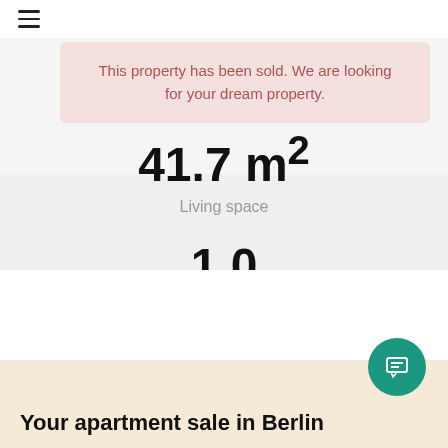This property has been sold. We are looking for your dream property.
41.7 m²
Living space
1.0
Rooms
Your apartment sale in Berlin